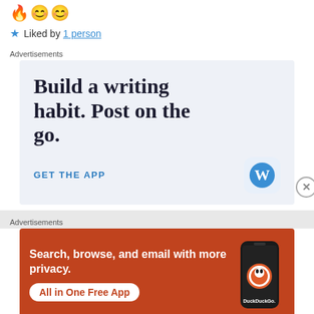🔥😊😊
★ Liked by 1 person
Advertisements
[Figure (illustration): WordPress app advertisement: 'Build a writing habit. Post on the go.' with GET THE APP link and WordPress 'W' logo icon]
Advertisements
[Figure (illustration): DuckDuckGo advertisement: 'Search, browse, and email with more privacy. All in One Free App' with phone graphic and DuckDuckGo logo]